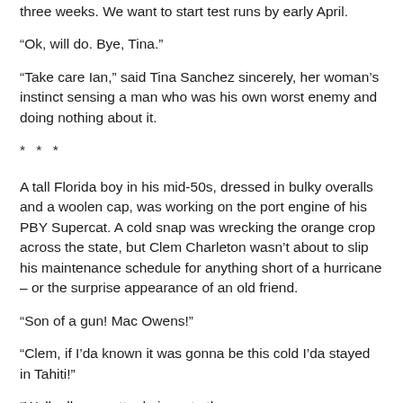three weeks. We want to start test runs by early April.
“Ok, will do. Bye, Tina.”
“Take care Ian,” said Tina Sanchez sincerely, her woman’s instinct sensing a man who was his own worst enemy and doing nothing about it.
* * *
A tall Florida boy in his mid-50s, dressed in bulky overalls and a woolen cap, was working on the port engine of his PBY Supercat. A cold snap was wrecking the orange crop across the state, but Clem Charleton wasn’t about to slip his maintenance schedule for anything short of a hurricane – or the surprise appearance of an old friend.
“Son of a gun! Mac Owens!”
“Clem, if I’da known it was gonna be this cold I’da stayed in Tahiti!”
“Well, all you gotta do is go to the…